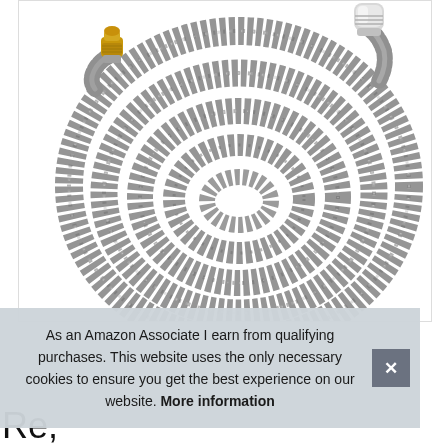[Figure (photo): A coiled braided stainless steel kitchen faucet pull-down hose with gold/brass connector on one end and chrome fitting on the other end, shown from above on white background.]
As an Amazon Associate I earn from qualifying purchases. This website uses the only necessary cookies to ensure you get the best experience on our website. More information
Re,